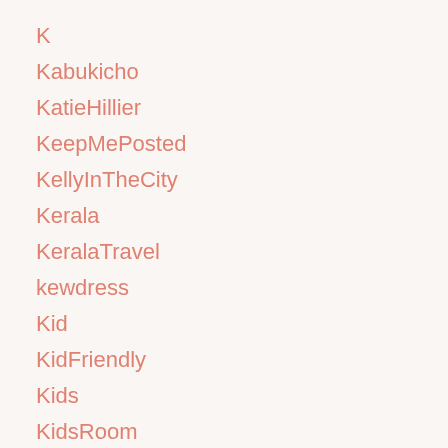K
Kabukicho
KatieHillier
KeepMePosted
KellyInTheCity
Kerala
KeralaTravel
kewdress
Kid
KidFriendly
Kids
KidsRoom
kielowrapdress
KimKardashian